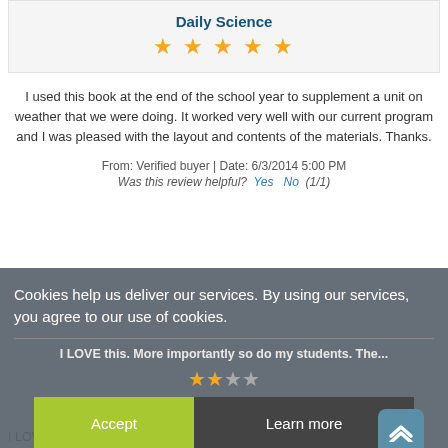Daily Science
[Figure (other): 5 yellow star rating icons]
I used this book at the end of the school year to supplement a unit on weather that we were doing. It worked very well with our current program and I was pleased with the layout and contents of the materials. Thanks.
From: Verified buyer | Date: 6/3/2014 5:00 PM
Was this review helpful?  Yes   No  (1/1)
Cookies help us deliver our services. By using our services, you agree to our use of cookies.
I LOVE this. More importantly so do my students. The...
I LOVE this. More importantly so do my students. The short lessons